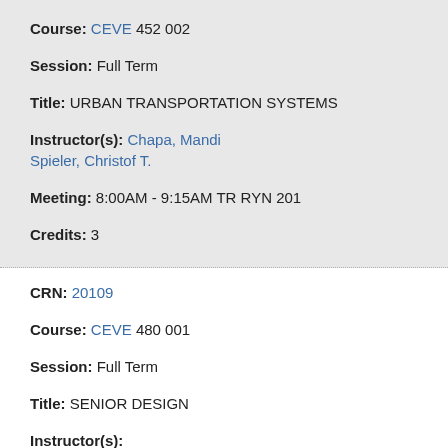Course: CEVE 452 002
Session: Full Term
Title: URBAN TRANSPORTATION SYSTEMS
Instructor(s): Chapa, Mandi Spieler, Christof T.
Meeting: 8:00AM - 9:15AM TR RYN 201
Credits: 3
CRN: 20109
Course: CEVE 480 001
Session: Full Term
Title: SENIOR DESIGN
Instructor(s): ...